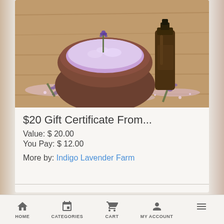[Figure (photo): Product photo showing a brown ceramic bowl filled with purple lavender bath salts, a dark amber essential oil bottle, and lavender sprigs on a wooden surface]
$20 Gift Certificate From...
Value: $ 20.00
You Pay: $ 12.00
More by: Indigo Lavender Farm
HOME   CATEGORIES   CART   MY ACCOUNT